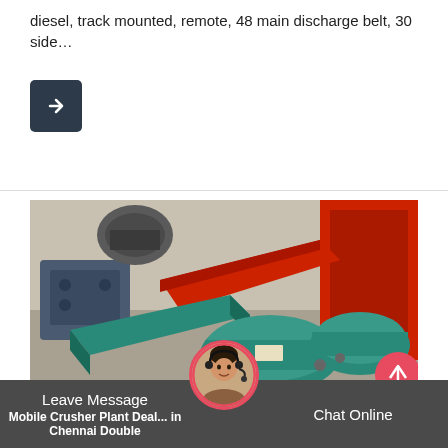diesel, track mounted, remote, 48 main discharge belt, 30 side…
[Figure (other): Arrow/next button icon on dark background]
[Figure (photo): Industrial machinery — teal/green vibratory feeder and red chute components on a factory floor, with other heavy equipment visible in the background]
Leave Message
Chat Online
Mobile Crusher Plant Deal... in Chennai Double